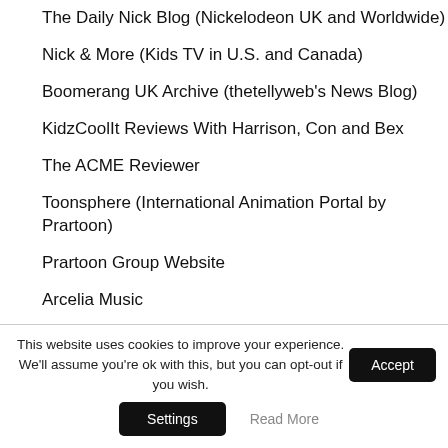The Daily Nick Blog (Nickelodeon UK and Worldwide)
Nick & More (Kids TV in U.S. and Canada)
Boomerang UK Archive (thetellyweb's News Blog)
KidzCoolIt Reviews With Harrison, Con and Bex
The ACME Reviewer
Toonsphere (International Animation Portal by Prartoon)
Prartoon Group Website
Arcelia Music
Cartoon Network & Boomerang Poland News
This website uses cookies to improve your experience. We'll assume you're ok with this, but you can opt-out if you wish.
Accept
Settings
Read More